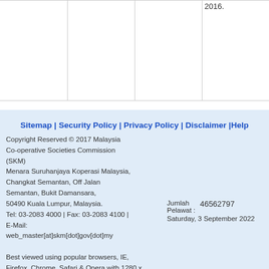|  |  |  | 2016. |
Sitemap | Security Policy | Privacy Policy | Disclaimer |Help
Copyright Reserved © 2017 Malaysia Co-operative Societies Commission (SKM)
Menara Suruhanjaya Koperasi Malaysia, Changkat Semantan, Off Jalan Semantan, Bukit Damansara, 50490 Kuala Lumpur, Malaysia.
Tel: 03-2083 4000 | Fax: 03-2083 4100 |
E-Mail: web_master[at]skm[dot]gov[dot]my
Best viewed using popular browsers, IE, Firefox, Chrome, Safari & Opera with 1280 x 800 pixels in resolutions.
Jumlah Pelawat : 46562797
Saturday, 3 September 2022